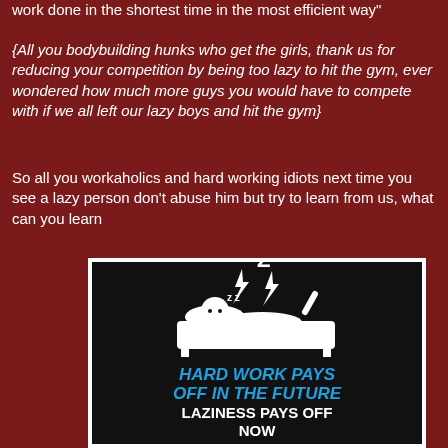work done in the shortest time in the most efficient way"
{All you bodybuilding hunks who get the girls, thank us for reducing your competition by being too lazy to hit the gym, ever wondered how much more guys you would have to compete with if we all left our lazy boys and hit the gym}
So all you workaholics and hard working idiots next time you see a lazy person don't abuse him but try to learn from us, what can you learn
[Figure (illustration): Black background image with cartoon of person sleeping in bed with ZZZ above, and text: HARD WORK PAYS OFF IN THE FUTURE / LAZINESS PAYS OFF NOW]